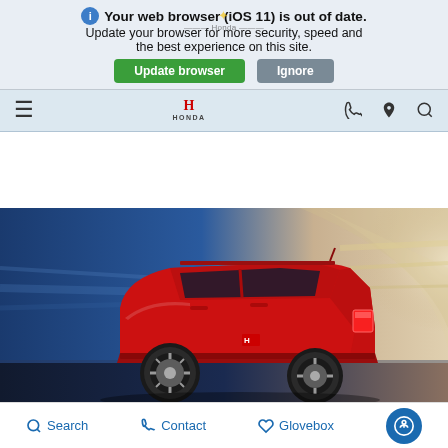Your web browser (iOS 11) is out of date. Update your browser for more security, speed and the best experience on this site.
Update browser | Ignore
[Figure (screenshot): Honda dealership navigation bar with hamburger menu, Honda logo, phone icon, location pin icon, and search icon on a light blue-gray background]
[Figure (photo): Red Honda CR-V SUV driving through a tunnel, rear three-quarter view, motion blur background in blue and white/tan tones]
2021 CR-V
[Figure (screenshot): Bottom navigation bar with Search, Contact, Glovebox, and accessibility icon buttons]